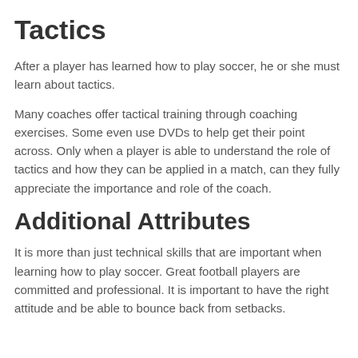Tactics
After a player has learned how to play soccer, he or she must learn about tactics.
Many coaches offer tactical training through coaching exercises. Some even use DVDs to help get their point across. Only when a player is able to understand the role of tactics and how they can be applied in a match, can they fully appreciate the importance and role of the coach.
Additional Attributes
It is more than just technical skills that are important when learning how to play soccer. Great football players are committed and professional. It is important to have the right attitude and be able to bounce back from setbacks.